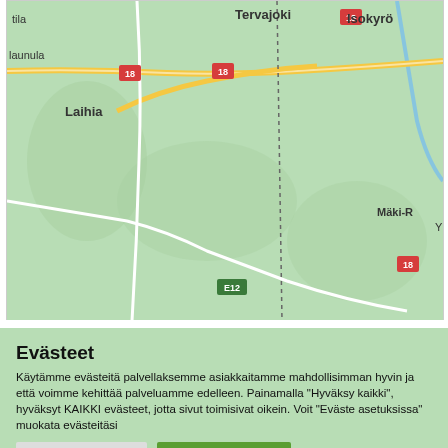[Figure (map): Street map showing Finnish towns including Tervajoki, Isokyrö, Laihia, Mäki-R, with road markers 18 and E12, green terrain background with yellow and white roads]
Evästeet
Käytämme evästeitä palvellaksemme asiakkaitamme mahdollisimman hyvin ja että voimme kehittää palveluamme edelleen. Painamalla "Hyväksy kaikki", hyväksyt KAIKKI evästeet, jotta sivut toimisivat oikein. Voit "Eväste asetuksissa" muokata evästeitäsi